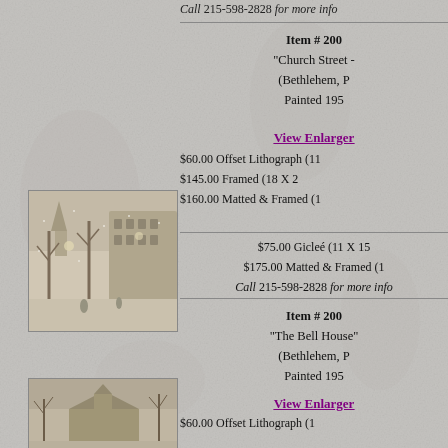Call 215-598-2828 for more info
Item # 2004 "Church Street - (Bethlehem, P... Painted 195...
View Enlargement
$60.00 Offset Lithograph (11... $145.00 Framed (18 X 2... $160.00 Matted & Framed (1...
[Figure (photo): Black and white lithograph of Church Street Bethlehem winter scene with snow and lit street lamps]
$75.00 Gicleé (11 X 15... $175.00 Matted & Framed (1... Call 215-598-2828 for more info
Item # 2004 "The Bell House" (Bethlehem, P... Painted 195...
View Enlargement
[Figure (photo): Black and white lithograph of The Bell House Bethlehem scene with trees]
$60.00 Offset Lithograph (1...